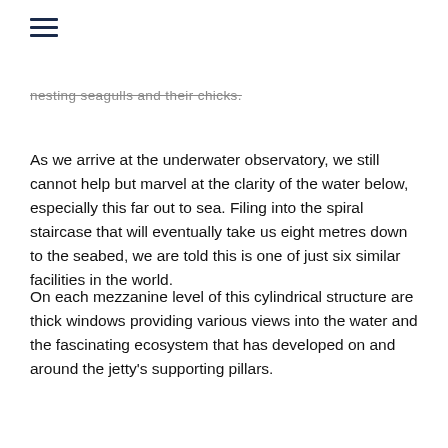[hamburger menu icon]
nesting seagulls and their chicks.
As we arrive at the underwater observatory, we still cannot help but marvel at the clarity of the water below, especially this far out to sea. Filing into the spiral staircase that will eventually take us eight metres down to the seabed, we are told this is one of just six similar facilities in the world.
On each mezzanine level of this cylindrical structure are thick windows providing various views into the water and the fascinating ecosystem that has developed on and around the jetty’s supporting pillars.